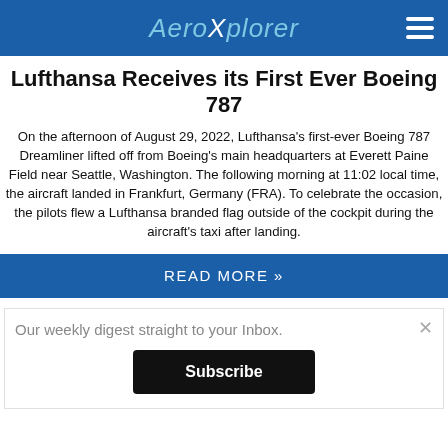AeroXplorer
Lufthansa Receives its First Ever Boeing 787
On the afternoon of August 29, 2022, Lufthansa's first-ever Boeing 787 Dreamliner lifted off from Boeing's main headquarters at Everett Paine Field near Seattle, Washington. The following morning at 11:02 local time, the aircraft landed in Frankfurt, Germany (FRA). To celebrate the occasion, the pilots flew a Lufthansa branded flag outside of the cockpit during the aircraft's taxi after landing.
READ MORE »
Our weekly digest straight to your Inbox.
Subscribe